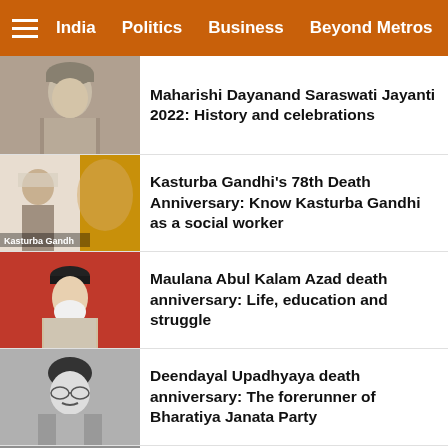India  Politics  Business  Beyond Metros
Maharishi Dayanand Saraswati Jayanti 2022: History and celebrations
Kasturba Gandhi's 78th Death Anniversary: Know Kasturba Gandhi as a social worker
Maulana Abul Kalam Azad death anniversary: Life, education and struggle
Deendayal Upadhyaya death anniversary: The forerunner of Bharatiya Janata Party
Jamnalal Bajaj death Anniversary: